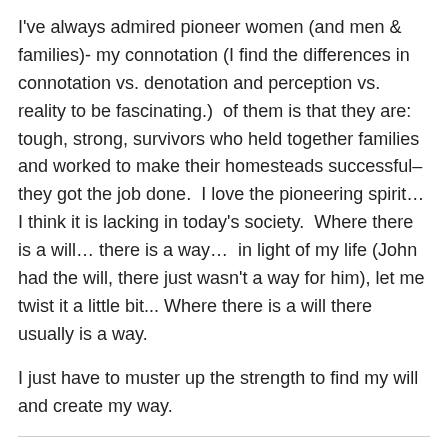I've always admired pioneer women (and men & families)- my connotation (I find the differences in connotation vs. denotation and perception vs. reality to be fascinating.) of them is that they are: tough, strong, survivors who held together families and worked to make their homesteads successful– they got the job done. I love the pioneering spirit… I think it is lacking in today's society. Where there is a will… there is a way… in light of my life (John had the will, there just wasn't a way for him), let me twist it a little bit... Where there is a will there usually is a way.
I just have to muster up the strength to find my will and create my way.
Share this: